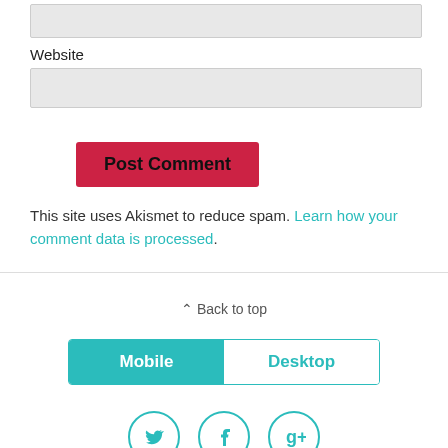Website
[Figure (screenshot): Website input text field (gray rectangle)]
[Figure (screenshot): Post Comment button (red/crimson rectangle with bold text)]
This site uses Akismet to reduce spam. Learn how your comment data is processed.
Back to top
[Figure (infographic): Mobile/Desktop toggle bar with Mobile selected (teal) and Desktop unselected (white)]
[Figure (infographic): Three social media icon circles: Twitter, Facebook, Google+]